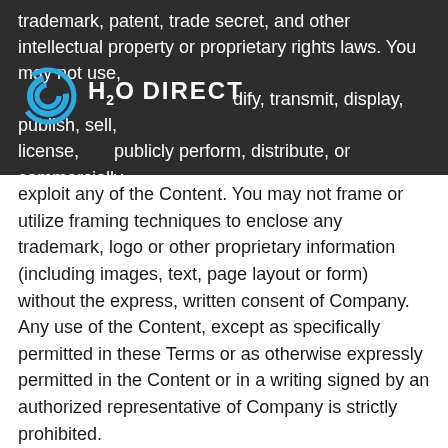trademark, patent, trade secret, and other intellectual property or proprietary rights laws. You may not use, reproduce, sublicense, modify, transmit, display, publish, sell, license, publicly perform, distribute, or commercially
[Figure (logo): H2O Direct logo with blue circular wave icon and white bold text]
exploit any of the Content. You may not frame or utilize framing techniques to enclose any trademark, logo or other proprietary information (including images, text, page layout or form) without the express, written consent of Company. Any use of the Content, except as specifically permitted in these Terms or as otherwise expressly permitted in the Content or in a writing signed by an authorized representative of Company is strictly prohibited.
If you print, copy, modify, download, or otherwise use or provide any other person with access to any part of the Website in breach of the Terms, your right to use